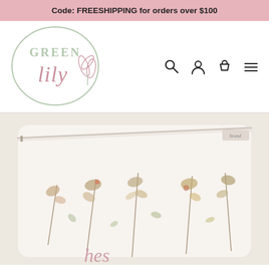Code: FREESHIPPING for orders over $100
[Figure (logo): Green Lily logo — circular outline with 'GREEN lily' text and a lily flower illustration in muted pink and sage green]
[Figure (illustration): E-commerce navigation icons: search magnifying glass, user account person, shopping bag, and hamburger menu]
[Figure (photo): Close-up photo of a floral-patterned fabric pouch/bag with botanical print featuring dried flowers and leaves in earthy tones on a white background, with a label tag visible]